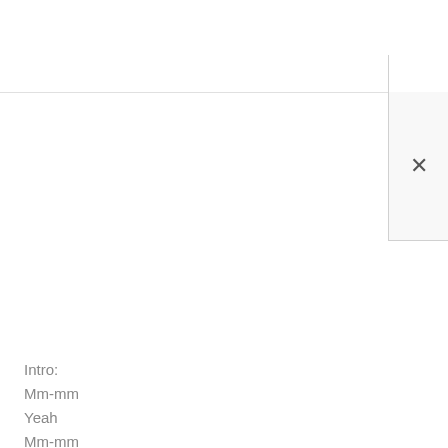[Figure (screenshot): UI screenshot showing a horizontal divider line and a close button panel with an X symbol on the right side]
Intro:
Mm-mm
Yeah
Mm-mm